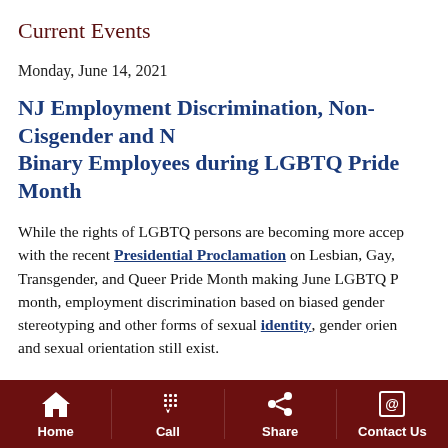Current Events
Monday, June 14, 2021
NJ Employment Discrimination, Non-Cisgender and Non-Binary Employees during LGBTQ Pride Month
While the rights of LGBTQ persons are becoming more accepted, with the recent Presidential Proclamation on Lesbian, Gay, Transgender, and Queer Pride Month making June LGBTQ Pride month, employment discrimination based on biased gender stereotyping and other forms of sexual identity, gender orientation and sexual orientation still exist.
June was chosen as the special month for LGBTQ Pride because the Stonewall riots took place in June of 1969. The Stonewall riots in New York City are the most widely known of LGBTQ resistance/confrontation historical events. While the Stonewall rebellion was not the first such public resistance/confrontation, systemic harassment and arresting of LGBTQ persons in more...
Home  Call  Share  Contact Us